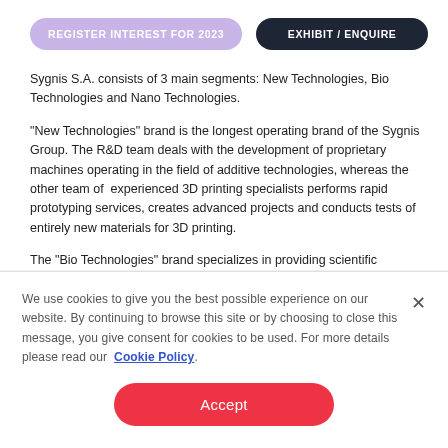REGISTER INTEREST FOR 2023 | EXHIBIT / ENQUIRE
Sygnis S.A. consists of 3 main segments: New Technologies, Bio Technologies and Nano Technologies.
“New Technologies” brand is the longest operating brand of the Sygnis Group. The R&D team deals with the development of proprietary machines operating in the field of additive technologies, whereas the other team of experienced 3D printing specialists performs rapid prototyping services, creates advanced projects and conducts tests of entirely new materials for 3D printing.
The “Bio Technologies” brand specializes in providing scientific equipment to the Polish market, with particular focus on high-resolution live cell imaging and tissue engineering. Their portfolio
We use cookies to give you the best possible experience on our website. By continuing to browse this site or by choosing to close this message, you give consent for cookies to be used. For more details please read our Cookie Policy.
Accept